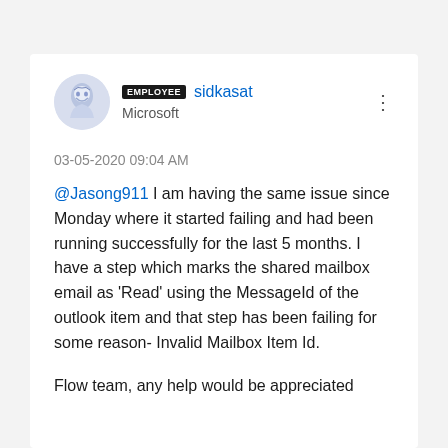[Figure (illustration): Circular avatar with an illustrated face/figure in blue-grey tones]
EMPLOYEE sidkasat
Microsoft
03-05-2020 09:04 AM
@Jasong911 I am having the same issue since Monday where it started failing and had been running successfully for the last 5 months. I have a step which marks the shared mailbox email as 'Read' using the MessageId of the outlook item and that step has been failing for some reason- Invalid Mailbox Item Id.
Flow team, any help would be appreciated